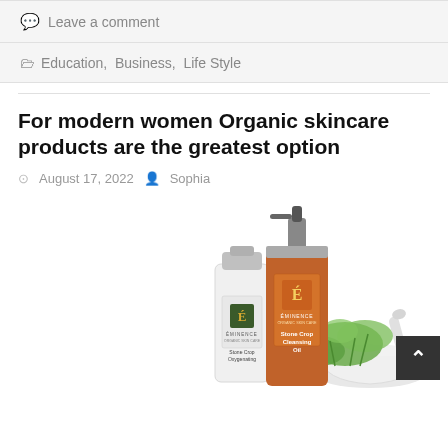💬 Leave a comment
🗁 Education, Business, Life Style
For modern women Organic skincare products are the greatest option
August 17, 2022  Sophia
[Figure (photo): Photo of Eminence organic skincare products — a white bottle (Stone Crop Oxygenating), an amber/orange pump bottle (Stone Crop Cleansing Oil), fresh herbs, and a white mortar and pestle on a white background.]